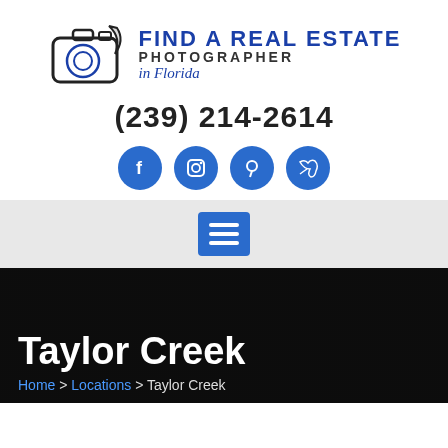[Figure (logo): Find A Real Estate Photographer in Florida logo with camera icon]
(239) 214-2614
[Figure (other): Social media icons: Facebook, Instagram, Pinterest, Twitter]
[Figure (other): Navigation hamburger menu button]
Taylor Creek
Home > Locations > Taylor Creek